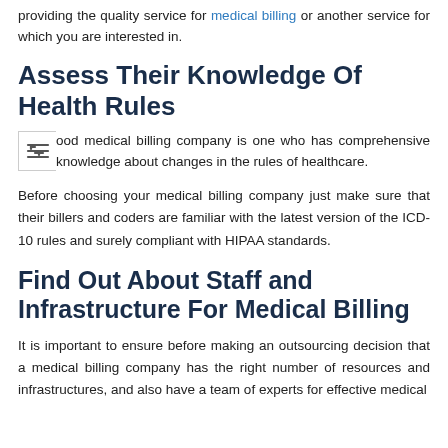providing the quality service for medical billing or another service for which you are interested in.
Assess Their Knowledge Of Health Rules
ood medical billing company is one who has comprehensive knowledge about changes in the rules of healthcare.
Before choosing your medical billing company just make sure that their billers and coders are familiar with the latest version of the ICD-10 rules and surely compliant with HIPAA standards.
Find Out About Staff and Infrastructure For Medical Billing
It is important to ensure before making an outsourcing decision that a medical billing company has the right number of resources and infrastructures, and also have a team of experts for effective medical